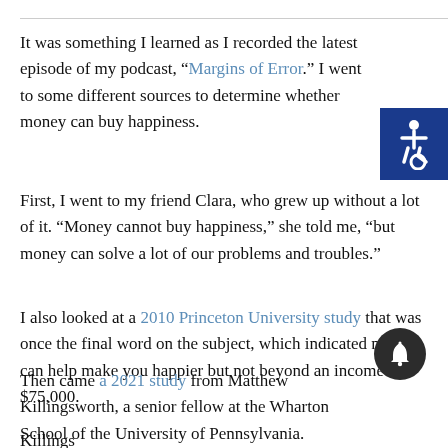It was something I learned as I recorded the latest episode of my podcast, “Margins of Error.” I went to some different sources to determine whether money can buy happiness.
[Figure (illustration): Blue square with white wheelchair accessibility icon (ISA symbol)]
First, I went to my friend Clara, who grew up without a lot of it. “Money cannot buy happiness,” she told me, “but money can solve a lot of our problems and troubles.”
I also looked at a 2010 Princeton University study that was once the final word on the subject, which indicated money can help make you happier but not beyond an income of $75,000.
Then came a 2021 study from Matthew Killingsworth, a senior fellow at the Wharton School of the University of Pennsylvania.
[Figure (illustration): Dark circular notification bell button]
Killings...